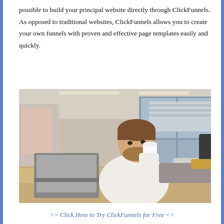possible to build your principal website directly through ClickFunnels. As opposed to traditional websites, ClickFunnels allows you to create your own funnels with proven and effective page templates easily and quickly.
[Figure (photo): A smiling man in a white dress shirt sitting at a wooden desk in a modern office, holding a white coffee cup near his mouth, with an open laptop in front of him. Books and a plate are on the desk. Large windows show an office building outside.]
>> Click Here to Try ClickFunnels for Free <<